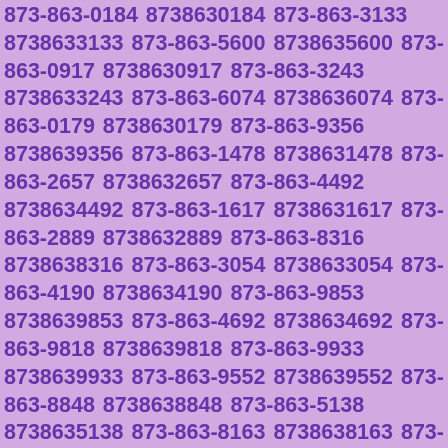873-863-0184 8738630184 873-863-3133 8738633133 873-863-5600 8738635600 873-863-0917 8738630917 873-863-3243 8738633243 873-863-6074 8738636074 873-863-0179 8738630179 873-863-9356 8738639356 873-863-1478 8738631478 873-863-2657 8738632657 873-863-4492 8738634492 873-863-1617 8738631617 873-863-2889 8738632889 873-863-8316 8738638316 873-863-3054 8738633054 873-863-4190 8738634190 873-863-9853 8738639853 873-863-4692 8738634692 873-863-9818 8738639818 873-863-9933 8738639933 873-863-9552 8738639552 873-863-8848 8738638848 873-863-5138 8738635138 873-863-8163 8738638163 873-863-1013 8738631013 873-863-2125 8738632125 873-863-5176 8738635176 873-863-6789 8738636789 873-863-0837 8738630837 873-863-0505 8738630505 873-863-1183 8738631183 873-863-5989 8738635989 873-863-5202 8738635202 873-863-3575 8738633575 873-863-8806 8738638806 873-863-6525 8738636525 873-863-8998 8738638998 873-863-4238 8738634238 873-863-6681 8738636681 873-863-5666 8738635666 873-863-6405 8738636405 873-863-1419 8738631419